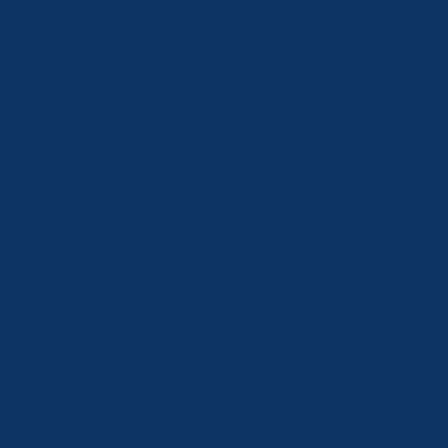une. Indeed it was the “scientific” Mr Cummings who